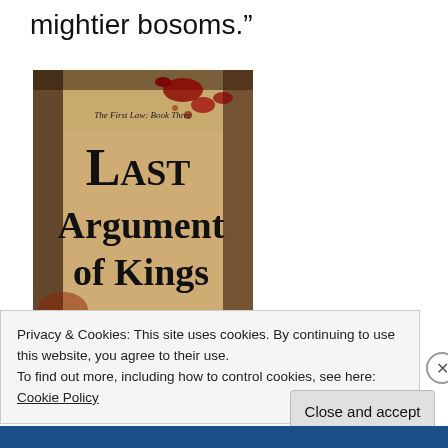mightier bosoms."
[Figure (photo): Book cover of 'Last Argument of Kings' by Joe Abercrombie, The First Law: Book Three. Dark, blood-spattered cover with gothic lettering.]
Privacy & Cookies: This site uses cookies. By continuing to use this website, you agree to their use.
To find out more, including how to control cookies, see here: Cookie Policy
Close and accept